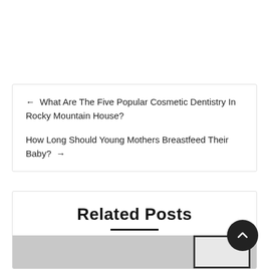← What Are The Five Popular Cosmetic Dentistry In Rocky Mountain House?
How Long Should Young Mothers Breastfeed Their Baby? →
Related Posts
[Figure (photo): Partial view of a related post image at the bottom of the page with a dark-bordered frame on a grey background]